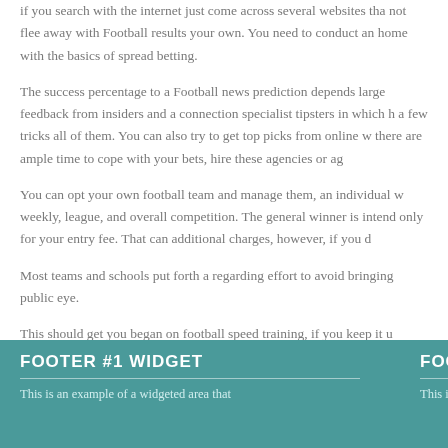if you search with the internet just come across several websites that not flee away with Football results your own. You need to conduct an home with the basics of spread betting.
The success percentage to a Football news prediction depends large feedback from insiders and a connection specialist tipsters in which h a few tricks all of them. You can also try to get top picks from online w there are ample time to cope with your bets, hire these agencies or ag
You can opt your own football team and manage them, an individual w weekly, league, and overall competition. The general winner is intend only for your entry fee. That can additional charges, however, if you d
Most teams and schools put forth a regarding effort to avoid bringing public eye.
This should get you began on football speed training, if you keep it up practically any type of anywhere, great luck with achieving a higher le
Filed Under: Uncategorized
FOOTER #1 WIDGET
This is an example of a widgeted area that
FOOTER #2 W
This is an exam